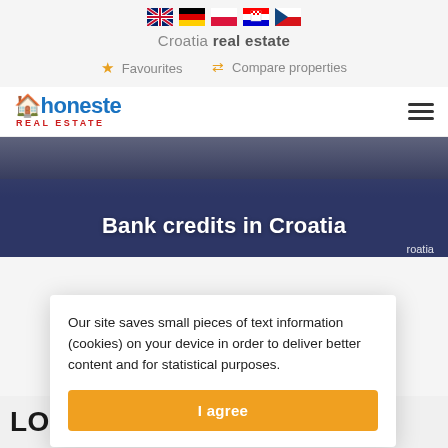[Figure (other): Language flag icons: UK, Germany, Poland, Croatia, Czech Republic]
Croatia real estate
☆ Favourites   ⇌ Compare properties
[Figure (logo): Honeste Real Estate logo with house icon and hamburger menu]
Bank credits in Croatia
Our site saves small pieces of text information (cookies) on your device in order to deliver better content and for statistical purposes.
I agree
LOAN IN CROATIA